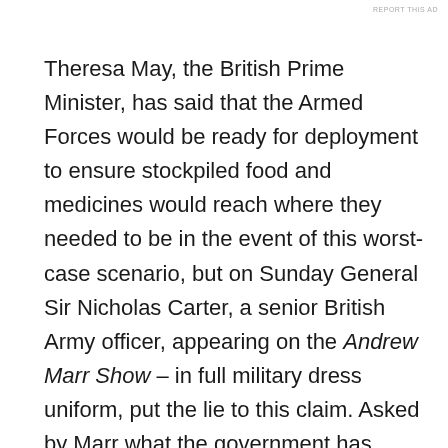REPORT THIS AD
Theresa May, the British Prime Minister, has said that the Armed Forces would be ready for deployment to ensure stockpiled food and medicines would reach where they needed to be in the event of this worst-case scenario, but on Sunday General Sir Nicholas Carter, a senior British Army officer, appearing on the Andrew Marr Show – in full military dress uniform, put the lie to this claim. Asked by Marr what the government has asked him to do in the event of a no deal Brexit, albeit speaking through a dry throat and coughs, Nick Carter said the Army